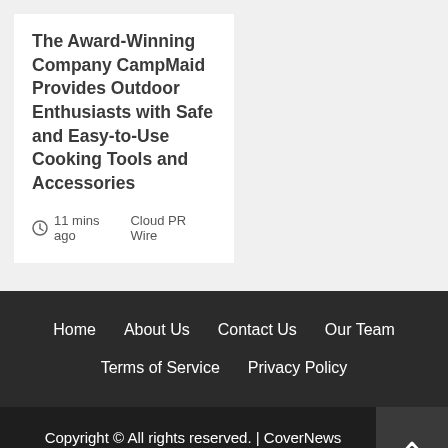The Award-Winning Company CampMaid Provides Outdoor Enthusiasts with Safe and Easy-to-Use Cooking Tools and Accessories
11 mins ago   Cloud PR Wire
Home   About Us   Contact Us   Our Team   Terms of Service   Privacy Policy
Copyright © All rights reserved. | CoverNews themes.